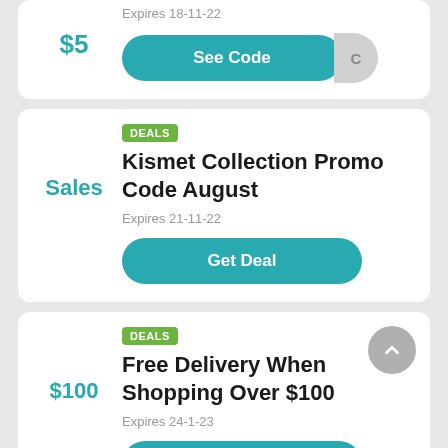$5
Expires 18-11-22
See Code
DEALS
Kismet Collection Promo Code August
Sales
Expires 21-11-22
Get Deal
DEALS
Free Delivery When Shopping Over $100
$100
Expires 24-1-23